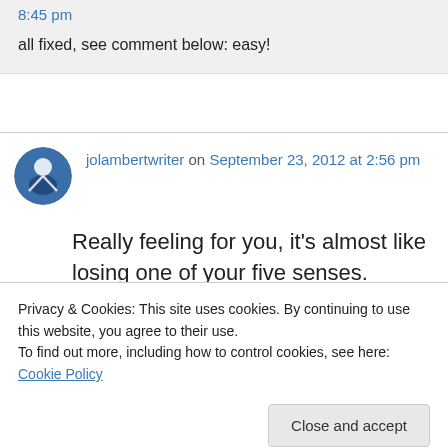8:45 pm
all fixed, see comment below: easy!
jolambertwriter on September 23, 2012 at 2:56 pm
Really feeling for you, it’s almost like losing one of your five senses. However, I can tell you’re a
Privacy & Cookies: This site uses cookies. By continuing to use this website, you agree to their use.
To find out more, including how to control cookies, see here: Cookie Policy
Close and accept